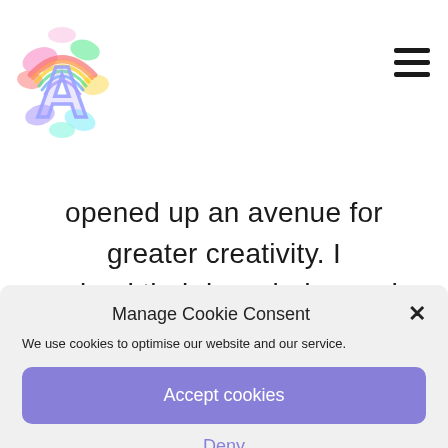[Figure (logo): Colorful paint splash logo with letter A in center]
opened up an avenue for greater creativity. I valued their knowledge and expertise, this was
Manage Cookie Consent
We use cookies to optimise our website and our service.
Accept cookies
Deny
View preferences
Privacy Policy  Privacy Policy